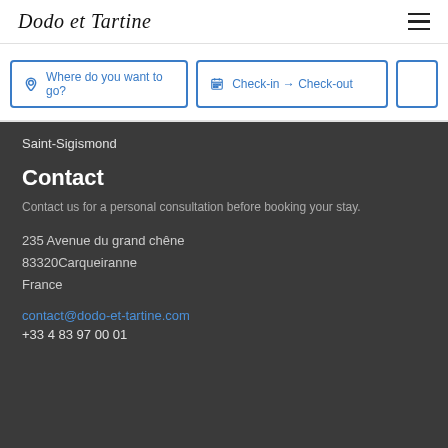Dodo et Tartine
Where do you want to go?  |  Check-in → Check-out
Saint-Sigismond
Contact
Contact us for a personal consultation before booking your stay.
235 Avenue du grand chêne
83320Carqueiranne
France
contact@dodo-et-tartine.com
+33 4 83 97 00 01